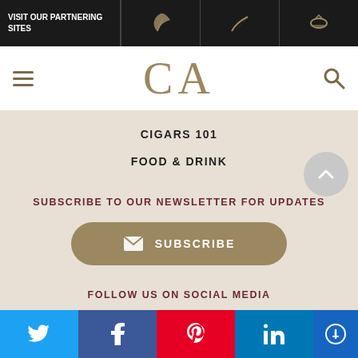VISIT OUR PARTNERING SITES
[Figure (logo): CA logo in gold serif font with hamburger menu and search icon]
CIGARS 101
FOOD & DRINK
SUBSCRIBE TO OUR NEWSLETTER FOR UPDATES
SUBSCRIBE
FOLLOW US ON SOCIAL MEDIA
[Figure (infographic): Social media icons: Twitter, Facebook, Instagram, YouTube, Pinterest]
Twitter | Facebook | Pinterest | LinkedIn | Accessibility